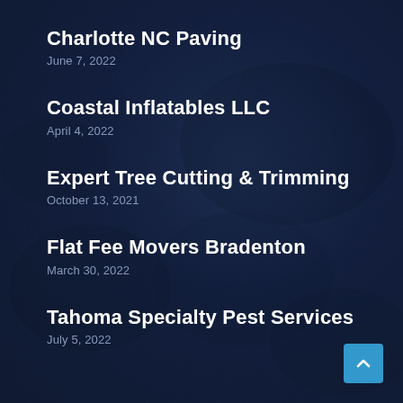Charlotte NC Paving
June 7, 2022
Coastal Inflatables LLC
April 4, 2022
Expert Tree Cutting & Trimming
October 13, 2021
Flat Fee Movers Bradenton
March 30, 2022
Tahoma Specialty Pest Services
July 5, 2022